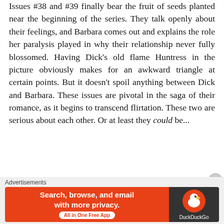Issues #38 and #39 finally bear the fruit of seeds planted near the beginning of the series. They talk openly about their feelings, and Barbara comes out and explains the role her paralysis played in why their relationship never fully blossomed. Having Dick's old flame Huntress in the picture obviously makes for an awkward triangle at certain points. But it doesn't spoil anything between Dick and Barbara. These issues are pivotal in the saga of their romance, as it begins to transcend flirtation. These two are serious about each other. Or at least they could be...
[Figure (photo): Dark comic book panel showing Bonzai Arms signage with a clock and stylized art]
It's also worth noting that McDaniel...
Advertisements
[Figure (screenshot): DuckDuckGo advertisement banner: Search, browse, and email with more privacy. All in One Free App.]